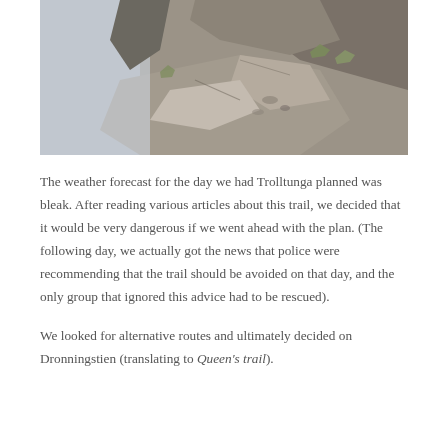[Figure (photo): A rocky cliff face with gray stone boulders in the foreground and a misty body of water or sky visible on the left side. Some sparse vegetation grows between the rocks.]
The weather forecast for the day we had Trolltunga planned was bleak. After reading various articles about this trail, we decided that it would be very dangerous if we went ahead with the plan. (The following day, we actually got the news that police were recommending that the trail should be avoided on that day, and the only group that ignored this advice had to be rescued).
We looked for alternative routes and ultimately decided on Dronningstien (translating to Queen's trail).